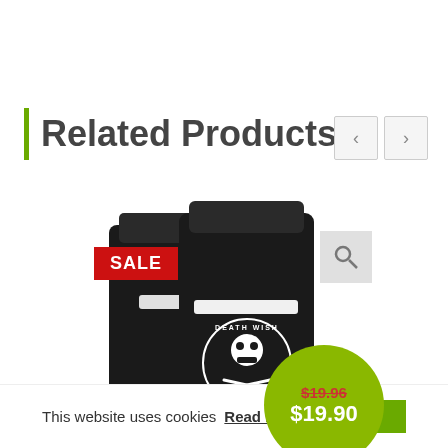Related Products
[Figure (photo): Product card for DEATH WISH COFFEE Dark Roast Coffee showing two black coffee bags with skull logo, a red SALE badge, a magnifier icon, and a green price circle showing $19.96 (crossed out) and $19.90]
DEATH WISH COFFEE Dark Roast Coffee
This website uses cookies Read More Close